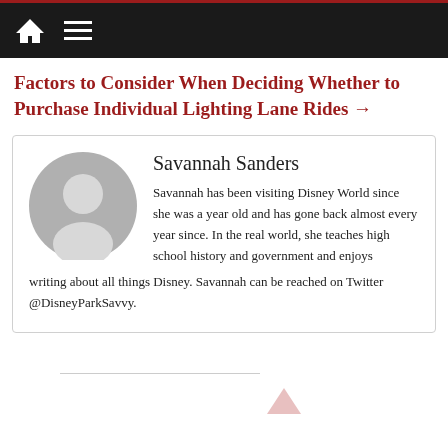navigation bar with home and menu icons
Factors to Consider When Deciding Whether to Purchase Individual Lighting Lane Rides →
Savannah Sanders
Savannah has been visiting Disney World since she was a year old and has gone back almost every year since. In the real world, she teaches high school history and government and enjoys writing about all things Disney. Savannah can be reached on Twitter @DisneyParkSavvy.
back to top arrow